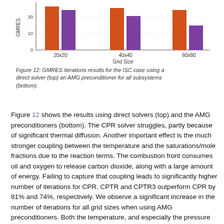[Figure (grouped-bar-chart): ]
Figure 12: GMRES iterations results for the ISC case using a direct solver (top) an AMG preconditioner for all subsystems (bottom).
Figure 12 shows the results using direct solvers (top) and the AMG preconditioners (bottom). The CPR solver struggles, partly because of significant thermal diffusion. Another important effect is the much stronger coupling between the temperature and the saturations/mole fractions due to the reaction terms. The combustion front consumes oil and oxygen to release carbon dioxide, along with a large amount of energy. Failing to capture that coupling leads to significantly higher number of iterations for CPR. CPTR and CPTR3 outperform CPR by 81% and 74%, respectively. We observe a significant increase in the number of iterations for all grid sizes when using AMG preconditioners. Both the temperature, and especially the pressure subsystems, are much more challenging in the ISC case. Even with those more challenging subproblems, both CPTR-AMG and CPTR3-AMG still outperform CPR-